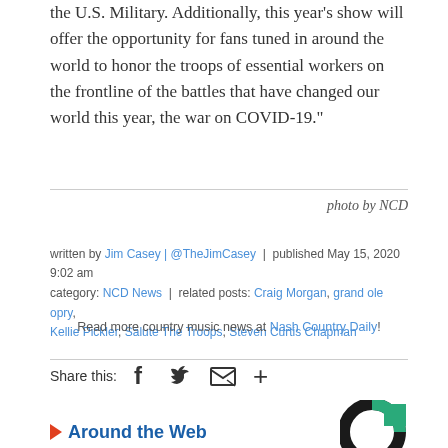the U.S. Military. Additionally, this year's show will offer the opportunity for fans tuned in around the world to honor the troops of essential workers on the frontline of the battles that have changed our world this year, the war on COVID-19."
photo by NCD
written by Jim Casey | @TheJimCasey | published May 15, 2020 9:02 am
category: NCD News | related posts: Craig Morgan, grand ole opry, Kellie Pickler, Salute The Troops, Steven Curtis Chapman
Read more country music news at Nash Country Daily!
Share this:
Around the Web
[Figure (logo): Taboola logo - circular chart style logo with dark and teal green segments]